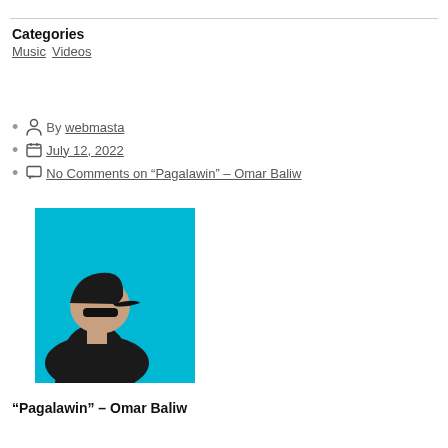Categories
Music  Videos
Post author  By webmasta
Post date  July 12, 2022
No Comments on “Pagalawin” – Omar Baliw
[Figure (photo): Side profile photo of a man wearing a black cap and black hoodie against a cyan/turquoise background]
“Pagalawin” – Omar Baliw